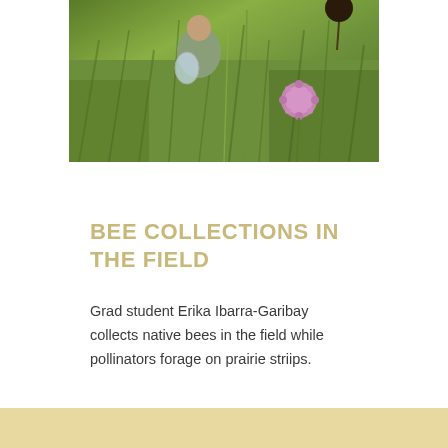[Figure (photo): A grad student in a field with tall green grasses, holding a plastic bag, collecting bees. A pink allium flower is visible in the foreground right, and a dark flower head upper right.]
BEE COLLECTIONS IN THE FIELD
Grad student Erika Ibarra-Garibay collects native bees in the field while pollinators forage on prairie striips.